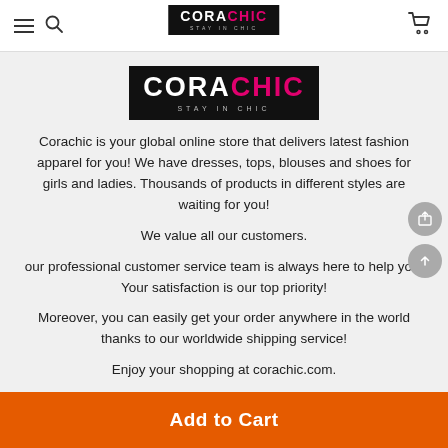[Figure (logo): Corachic logo in navigation bar - black background with CORA in white and CHIC in pink, STAY IN CHIC tagline below]
[Figure (logo): Large Corachic logo - black background with CORA in white and CHIC in pink, STAY IN CHIC tagline below]
Corachic is your global online store that delivers latest fashion apparel for you! We have dresses, tops, blouses and shoes for girls and ladies. Thousands of products in different styles are waiting for you!
We value all our customers.
our professional customer service team is always here to help you. Your satisfaction is our top priority!
Moreover, you can easily get your order anywhere in the world thanks to our worldwide shipping service!
Enjoy your shopping at corachic.com.
Add to Cart